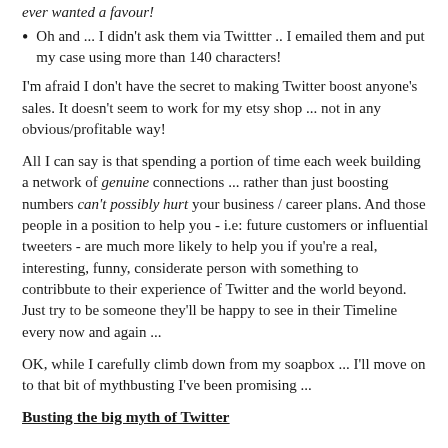ever wanted a favour!
Oh and ... I didn't ask them via Twittter .. I emailed them and put my case using more than 140 characters!
I'm afraid I don't have the secret to making Twitter boost anyone's sales. It doesn't seem to work for my etsy shop ... not in any obvious/profitable way!
All I can say is that spending a portion of time each week building a network of genuine connections ... rather than just boosting numbers can't possibly hurt your business / career plans. And those people in a position to help you - i.e: future customers or influential tweeters - are much more likely to help you if you're a real, interesting, funny, considerate person with something to contribbute to their experience of Twitter and the world beyond. Just try to be someone they'll be happy to see in their Timeline every now and again ...
OK, while I carefully climb down from my soapbox ... I'll move on to that bit of mythbusting I've been promising ...
Busting the big myth of Twitter